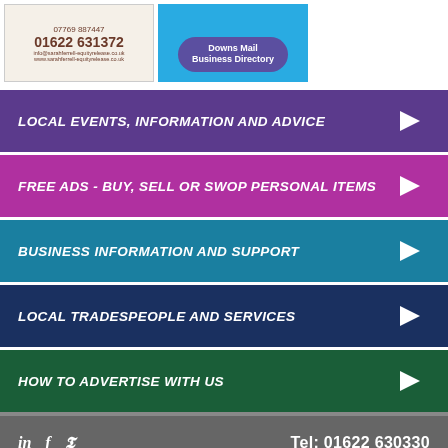[Figure (other): Two advertisement boxes: left is a light beige ad for sarahferrell-equityrelease.co.uk with phone 01622 631372, right is a blue ad for Downs Mail Business Directory with a purple oval button.]
LOCAL EVENTS, INFORMATION AND ADVICE →
FREE ADS - BUY, SELL OR SWOP PERSONAL ITEMS →
BUSINESS INFORMATION AND SUPPORT →
LOCAL TRADESPEOPLE AND SERVICES →
HOW TO ADVERTISE WITH US →
in  f  🐦  Tel: 01622 630330